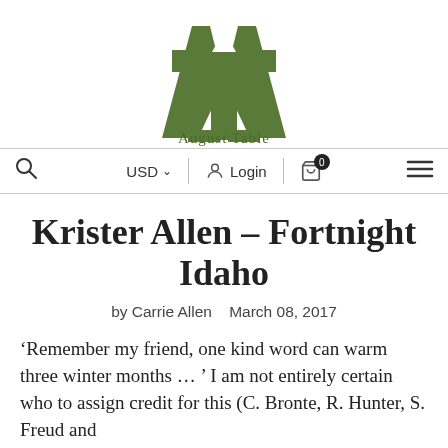[Figure (logo): August Table logo: green stylized letter A with crossbar forming a T shape, with text 'August Table' below]
USD  Login  0
Krister Allen – Fortnight Idaho
by Carrie Allen   March 08, 2017
'Remember my friend, one kind word can warm three winter months ...' I am not entirely certain who to assign credit for this (C. Bronte, R. Hunter, S. Freud and